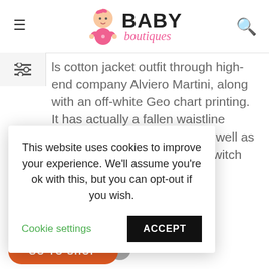[Figure (logo): Baby Boutiques website logo with cartoon baby girl in pink and bold BABY text with pink italic boutiques underneath]
ls cotton jacket outfit through high-end company Alviero Martini, along with an off-white Geo chart printing. It has actually a fallen waistline along with a gotten dress, as well as fastens along with a crystal switch on the back.
This website uses cookies to improve your experience. We'll assume you're ok with this, but you can opt-out if you wish.
Cookie settings
ACCEPT
GO TO SHOP